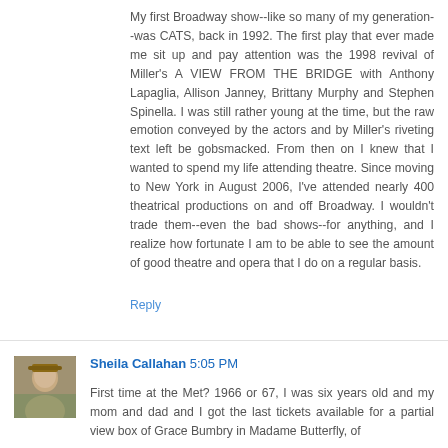My first Broadway show--like so many of my generation--was CATS, back in 1992. The first play that ever made me sit up and pay attention was the 1998 revival of Miller's A VIEW FROM THE BRIDGE with Anthony Lapaglia, Allison Janney, Brittany Murphy and Stephen Spinella. I was still rather young at the time, but the raw emotion conveyed by the actors and by Miller's riveting text left be gobsmacked. From then on I knew that I wanted to spend my life attending theatre. Since moving to New York in August 2006, I've attended nearly 400 theatrical productions on and off Broadway. I wouldn't trade them--even the bad shows--for anything, and I realize how fortunate I am to be able to see the amount of good theatre and opera that I do on a regular basis.
Reply
[Figure (photo): Small avatar photo of Sheila Callahan showing a person outdoors with trees in background]
Sheila Callahan 5:05 PM
First time at the Met? 1966 or 67, I was six years old and my mom and dad and I got the last tickets available for a partial view box of Grace Bumbry in Madame Butterfly, of